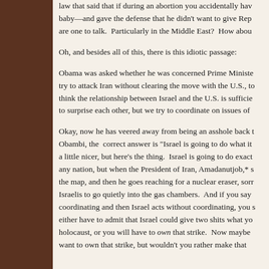law that said that if during an abortion you accidentally have a baby—and gave the defense that he didn't want to give Republicans are one to talk.  Particularly in the Middle East?  How about
Oh, and besides all of this, there is this idiotic passage:
Obama was asked whether he was concerned Prime Minister try to attack Iran without clearing the move with the U.S., to think the relationship between Israel and the U.S. is sufficie to surprise each other, but we try to coordinate on issues of
Okay, now he has veered away from being an asshole back Obambi, the  correct answer is "Israel is going to do what it a little nicer, but here's the thing.  Israel is going to do exact any nation, but when the President of Iran, Amadanutjob,* s the map, and then he goes reaching for a nuclear eraser, sorr Israelis to go quietly into the gas chambers.  And if you say coordinating and then Israel acts without coordinating, you either have to admit that Israel could give two shits what yo holocaust, or you will have to own that strike.  Now maybe want to own that strike, but wouldn't you rather make that